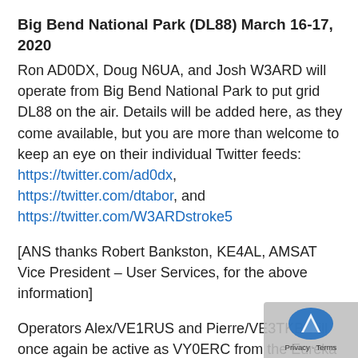Big Bend National Park (DL88) March 16-17, 2020
Ron AD0DX, Doug N6UA, and Josh W3ARD will operate from Big Bend National Park to put grid DL88 on the air. Details will be added here, as they come available, but you are more than welcome to keep an eye on their individual Twitter feeds: https://twitter.com/ad0dx, https://twitter.com/dtabor, and https://twitter.com/W3ARDstroke5
[ANS thanks Robert Bankston, KE4AL, AMSAT Vice President – User Services, for the above information]
Operators Alex/VE1RUS and Pierre/VE3TKB will once again be active as VY0ERC from the Eureka Weather station between now and March 28th. This station is operated by the Eureka Amateur Radio Club